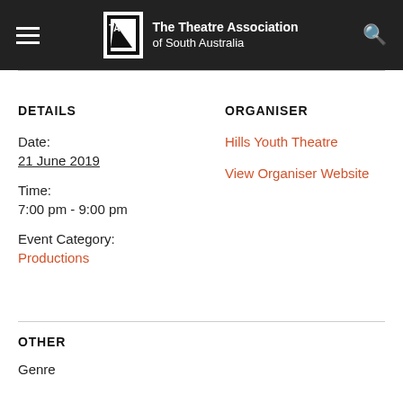The Theatre Association of South Australia
DETAILS
Date:
21 June 2019
Time:
7:00 pm - 9:00 pm
Event Category:
Productions
ORGANISER
Hills Youth Theatre
View Organiser Website
OTHER
Genre